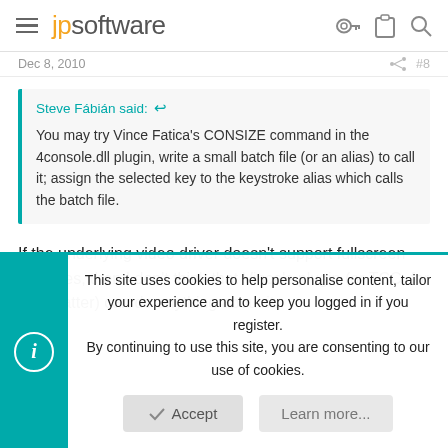jpsoftware
Dec 8, 2010  #8
Steve Fábián said: ↩

You may try Vince Fatica's CONSIZE command in the 4console.dll plugin, write a small batch file (or an alias) to call it; assign the selected key to the keystroke alias which calls the batch file.
If the underlying video driver doesn't support fullscreen consoles, then I don't think that Vince's plugin (or TCC, for that matter) can do anything about it.
This site uses cookies to help personalise content, tailor your experience and to keep you logged in if you register.
By continuing to use this site, you are consenting to our use of cookies.